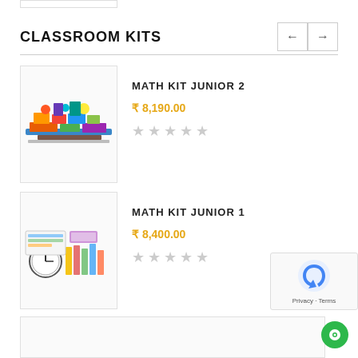CLASSROOM KITS
[Figure (photo): Math Kit Junior 2 product image showing colorful educational math manipulatives]
MATH KIT JUNIOR 2
₹ 8,190.00
[Figure (photo): Math Kit Junior 1 product image showing educational math tools and manipulatives]
MATH KIT JUNIOR 1
₹ 8,400.00